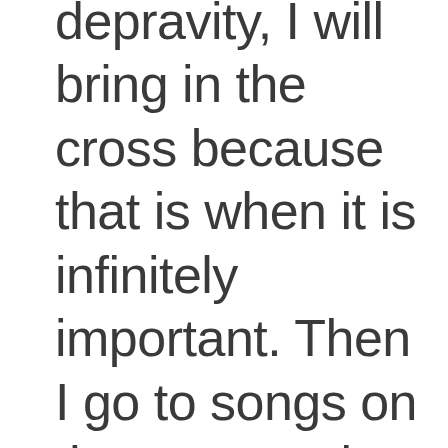depravity, I will bring in the cross because that is when it is infinitely important. Then I go to songs on the resurrection, surrender, and so